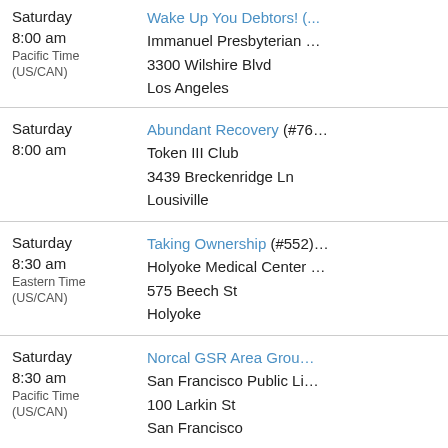Saturday 8:00 am Pacific Time (US/CAN) — Wake Up You Debtors! (... — Immanuel Presbyterian ... — 3300 Wilshire Blvd — Los Angeles
Saturday 8:00 am — Abundant Recovery (#76... — Token III Club — 3439 Breckenridge Ln — Lousiville
Saturday 8:30 am Eastern Time (US/CAN) — Taking Ownership (#552)... — Holyoke Medical Center ... — 575 Beech St — Holyoke
Saturday 8:30 am Pacific Time (US/CAN) — Norcal GSR Area Grou... — San Francisco Public Li... — 100 Larkin St — San Francisco
Saturday 8:30 am — DA Steps and Tools to ... — St. Paul's Episcopal Chu...